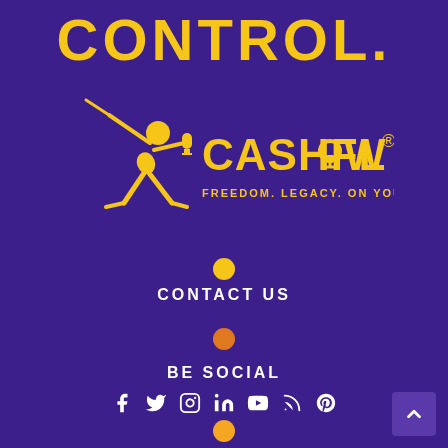CONTROL.
[Figure (logo): Cashflow Ninja logo with ninja figure holding sword and microphone, gold color on purple background, tagline: FREEDOM. LEGACY. ON YOUR TERMS.]
[Figure (other): Gold filled circle separator]
CONTACT US
[Figure (other): Orange filled circle separator]
BE SOCIAL
[Figure (other): Social media icons: Facebook, Twitter, Instagram, LinkedIn, YouTube, RSS, Pinterest]
[Figure (other): Back to top button with caret/arrow icon, bottom right corner]